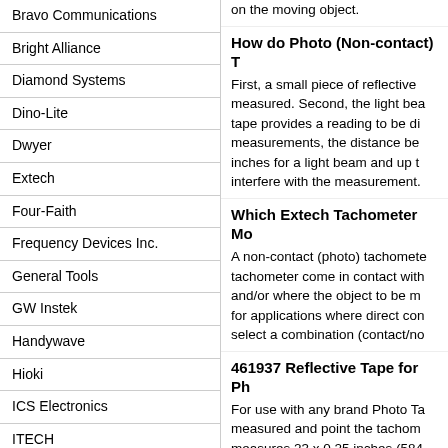Bravo Communications
Bright Alliance
Diamond Systems
Dino-Lite
Dwyer
Extech
Four-Faith
Frequency Devices Inc.
General Tools
GW Instek
Handywave
Hioki
ICS Electronics
ITECH
Juniper
LabJack
Lascar
Maynuo
How do Photo (Non-contact) T
First, a small piece of reflective measured. Second, the light bea tape provides a reading to be di measurements, the distance be inches for a light beam and up t interfere with the measurement.
Which Extech Tachometer Mo
A non-contact (photo) tachomete tachometer come in contact with and/or where the object to be m for applications where direct con select a combination (contact/no
461937 Reflective Tape for Ph
For use with any brand Photo Ta measured and point the tachom measures 23 x 0.25 inches (584
Replacement Wheels for Cont
Two sets of cone tip, flat tip, and